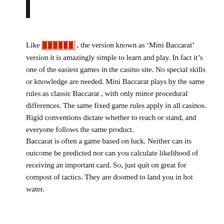Like &#x2588;&#x2588;&#x2588;&#x2588;&#x2588;&#x2588; , the version known as ‘Mini Baccarat’ version it is amazingly simple to learn and play. In fact it’s one of the easiest games in the casino site. No special skills or knowledge are needed. Mini Baccarat plays by the same rules as classic Baccarat , with only minor procedural differences. The same fixed game rules apply in all casinos. Rigid conventions dictate whether to reach or stand, and everyone follows the same product.
Baccarat is often a game based on luck. Neither can its outcome be predicted nor can you calculate likelihood of receiving an important card. So, just quit on great for compost of tactics. They are doomed to land you in hot water.